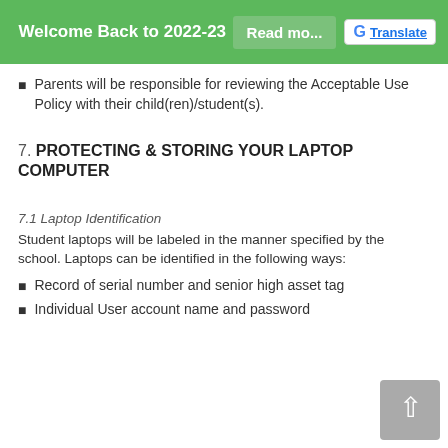Welcome Back to 2022-23  Read more...  Translate
Parents will be responsible for reviewing the Acceptable Use Policy with their child(ren)/student(s).
7. PROTECTING & STORING YOUR LAPTOP COMPUTER
7.1 Laptop Identification
Student laptops will be labeled in the manner specified by the school. Laptops can be identified in the following ways:
Record of serial number and senior high asset tag
Individual User account name and password